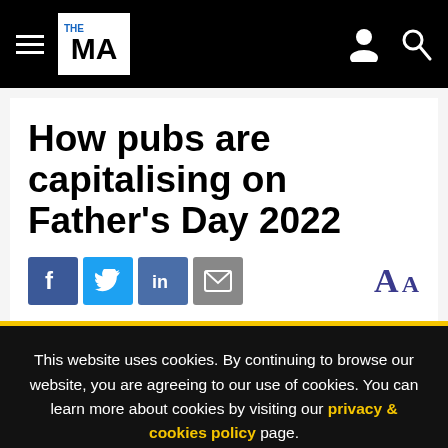THE MA — Navigation bar with hamburger menu, logo, user icon, search icon
How pubs are capitalising on Father's Day 2022
[Figure (infographic): Social sharing icons row: Facebook (blue), Twitter (light blue), LinkedIn (blue), Email (grey), and font size selector 'AA' in navy serif font on the right]
This website uses cookies. By continuing to browse our website, you are agreeing to our use of cookies. You can learn more about cookies by visiting our privacy & cookies policy page.